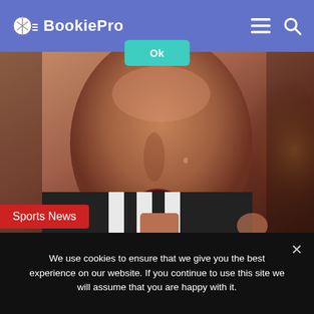BookiePro
[Figure (photo): Close-up photo of a footballer wearing a black and white striped jersey (Juventus-style), looking upward with an open mouth expression. Strong studio/match lighting highlights the face.]
Sports News
Ronaldo 5/1 For Top Premier League Scorer Pending United Deal Confirmed
12 months ago   0   394
We use cookies to ensure that we give you the best experience on our website. If you continue to use this site we will assume that you are happy with it.
Ok